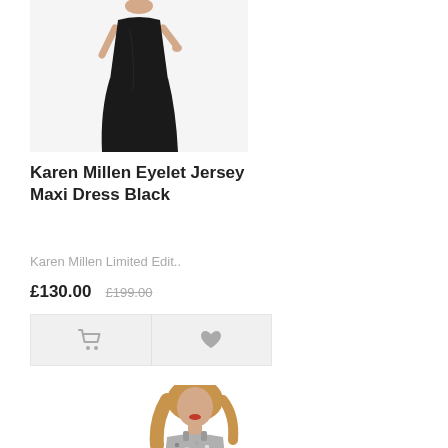[Figure (photo): Product photo of a woman wearing a black Karen Millen Eyelet Jersey Maxi Dress, cropped to show torso to floor]
Karen Millen Eyelet Jersey Maxi Dress Black
Karen Millen Limited Edit..
£130.00  £199.00
[Figure (photo): Product photo of a young woman wearing a silver/grey sequined sleeveless dress, partially visible from waist up]